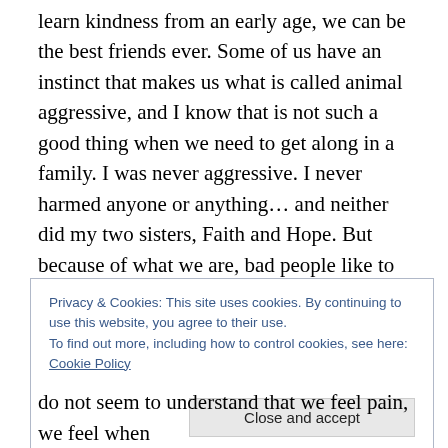learn kindness from an early age, we can be the best friends ever. Some of us have an instinct that makes us what is called animal aggressive, and I know that is not such a good thing when we need to get along in a family. I was never aggressive. I never harmed anyone or anything… and neither did my two sisters, Faith and Hope. But because of what we are, bad people like to take us and make us do bad things. And those bad people make a lot of other humans hate us for what we are trained to do.
But that is another story, sort of… though that story is the
Privacy & Cookies: This site uses cookies. By continuing to use this website, you agree to their use.
To find out more, including how to control cookies, see here: Cookie Policy
do not seem to understand that we feel pain, we feel when